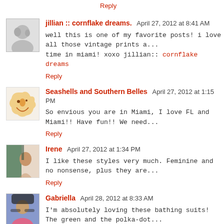Reply
jillian :: cornflake dreams.  April 27, 2012 at 8:41 AM
well this is one of my favorite posts! i love all those vintage prints a... time in miami! xoxo jillian:: cornflake dreams
Reply
Seashells and Southern Belles  April 27, 2012 at 1:15 PM
So envious you are in Miami, I love FL and Miami!! Have fun!! We need...
Reply
Irene  April 27, 2012 at 1:34 PM
I like these styles very much. Feminine and no nonsense, plus they are...
Reply
Gabriella  April 28, 2012 at 8:33 AM
I'm absolutely loving these bathing suits! The green and the polka-dot...